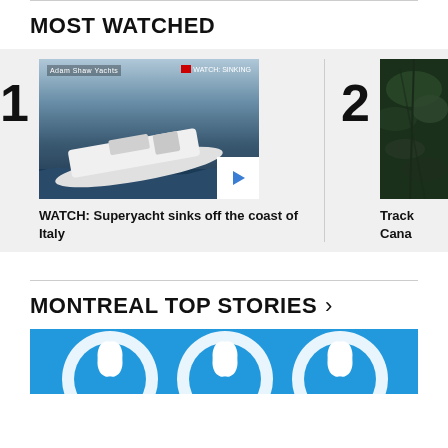MOST WATCHED
[Figure (photo): Thumbnail of a superyacht tilting/sinking at sea with ocean waves, showing deck view from above]
WATCH: Superyacht sinks off the coast of Italy
[Figure (photo): Partial thumbnail of item 2 showing green plant/leaves against dark background]
Track Cana
MONTREAL TOP STORIES >
[Figure (photo): Blue and white graphic/logo image partially visible at bottom of page]